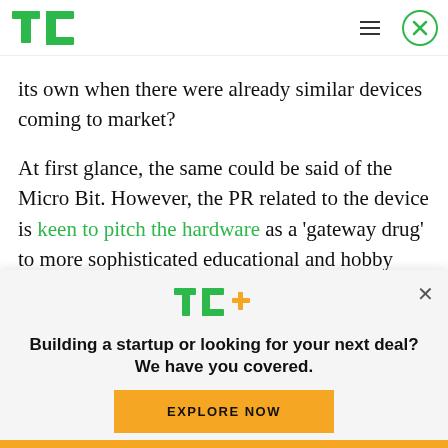TechCrunch header with logo, hamburger menu, and close button
its own when there were already similar devices coming to market?
At first glance, the same could be said of the Micro Bit. However, the PR related to the device is keen to pitch the hardware as a 'gateway drug' to more sophisticated educational and hobby computing,
[Figure (logo): TC+ logo with green TC and yellow plus sign]
Building a startup or looking for your next deal? We have you covered.
EXPLORE NOW